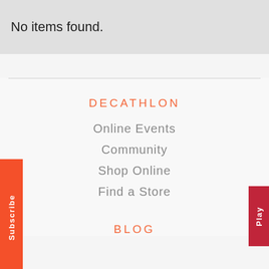No items found.
DECATHLON
Online Events
Community
Shop Online
Find a Store
BLOG